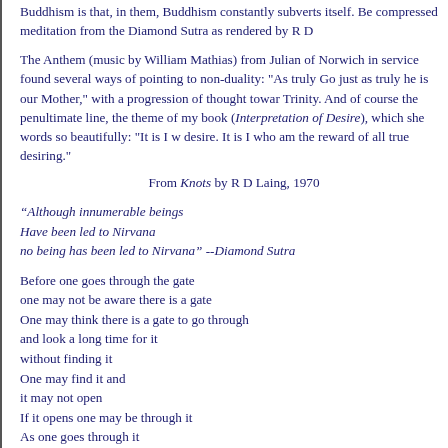Buddhism is that, in them, Buddhism constantly subverts itself. Be compressed meditation from the Diamond Sutra as rendered by R D
The Anthem (music by William Mathias) from Julian of Norwich in service found several ways of pointing to non-duality: "As truly Go just as truly he is our Mother," with a progression of thought towar Trinity. And of course the penultimate line, the theme of my book ( Interpretation of Desire), which she words so beautifully: "It is I w desire. It is I who am the reward of all true desiring."
From Knots by R D Laing, 1970
“Although innumerable beings
Have been led to Nirvana
no being has been led to Nirvana” --Diamond Sutra
Before one goes through the gate
one may not be aware there is a gate
One may think there is a gate to go through
and look a long time for it
without finding it
One may find it and
it may not open
If it opens one may be through it
As one goes through it
one sees that the gate one went through